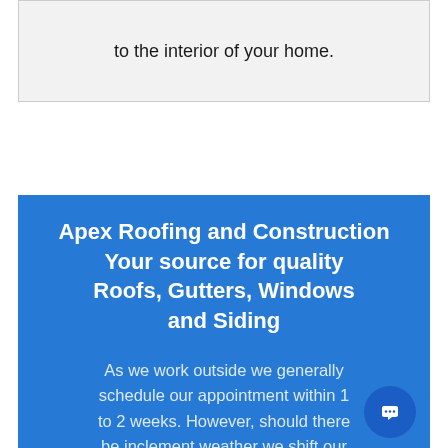to the interior of your home.
Apex Roofing and Construction
Your source for quality Roofs, Gutters, Windows and Siding
As we work outside we generally schedule our appointment within 1 to 2 weeks. However, should there be inclement weather we shift our schedules according. The safety of our team is very important to